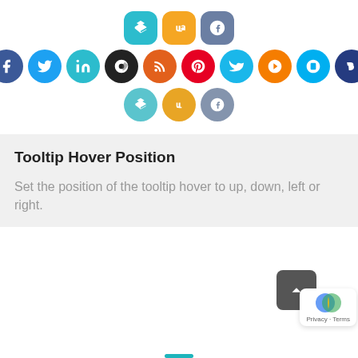[Figure (illustration): Two rows of social media icon buttons. Top row (rounded square): Dropbox (teal), SoundCloud (orange), VK (blue-gray). Middle row (circles): Facebook (blue), Twitter (light blue), LinkedIn (teal), Dribbble (black), RSS (red), Pinterest (pink), Vimeo (blue), Blogger (orange), Skype (teal-blue), PayPal (dark blue). Bottom row (circles, slightly muted): Dropbox (teal), SoundCloud (orange), VK (blue-gray).]
Tooltip Hover Position
Set the position of the tooltip hover to up, down, left or right.